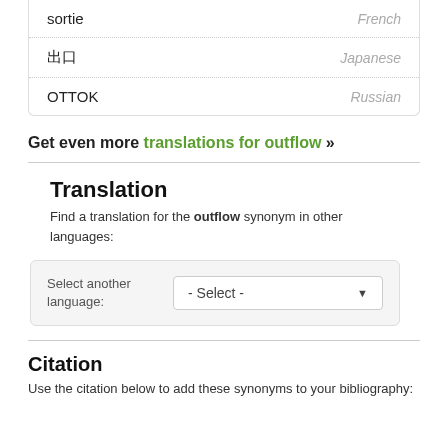| Word | Language |
| --- | --- |
| sortie | French |
| 出口 | Japanese |
| OTTOK | Russian |
Get even more translations for outflow »
Translation
Find a translation for the outflow synonym in other languages:
Select another language: - Select -
Citation
Use the citation below to add these synonyms to your bibliography: